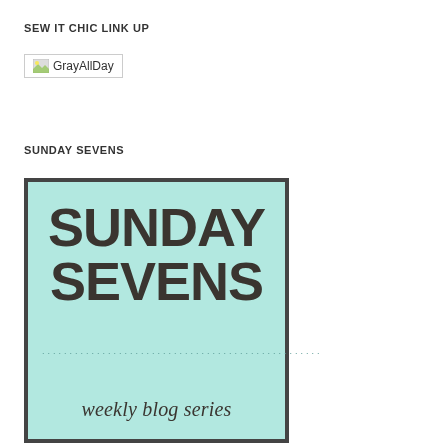SEW IT CHIC LINK UP
[Figure (logo): Broken image placeholder showing 'GrayAllDay' text with small image icon]
SUNDAY SEVENS
[Figure (logo): Sunday Sevens weekly blog series badge — light teal/mint square with dark border, large bold distressed text 'SUNDAY SEVENS' and dotted line separator above 'weekly blog series' in italic serif font]